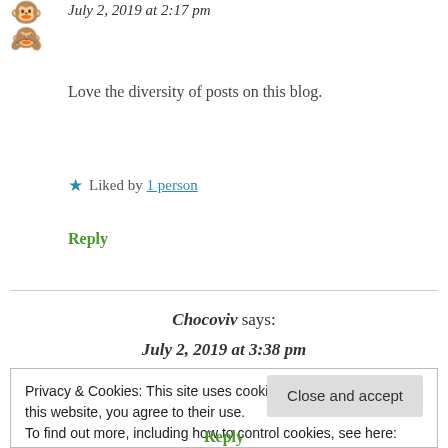July 2, 2019 at 2:17 pm
Love the diversity of posts on this blog.
★ Liked by 1 person
Reply
Chocoviv says:
July 2, 2019 at 3:38 pm
Privacy & Cookies: This site uses cookies. By continuing to use this website, you agree to their use.
To find out more, including how to control cookies, see here: Cookie Policy
Close and accept
Reply